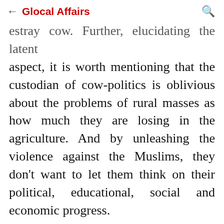← Glocal Affairs 🔍
estray cow. Further, elucidating the latent aspect, it is worth mentioning that the custodian of cow-politics is oblivious about the problems of rural masses as how much they are losing in the agriculture. And by unleashing the violence against the Muslims, they don't want to let them think on their political, educational, social and economic progress.

To reflect on the manifest aspect of cow politics i.e. unleashing the violence in the name of cow protection by the cow vigilante